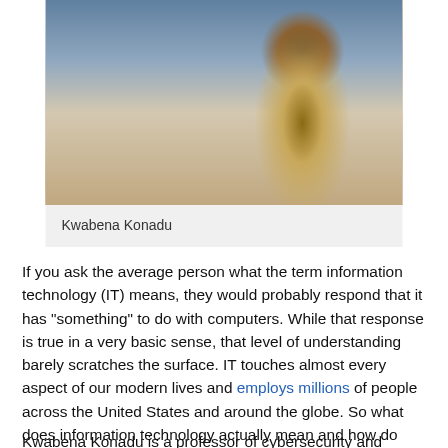[Figure (photo): A man in a grey blazer pointing at a screen or display board, appearing to be teaching or presenting in a classroom setting.]
Kwabena Konadu
If you ask the average person what the term information technology (IT) means, they would probably respond that it has “something” to do with computers. While that response is true in a very basic sense, that level of understanding barely scratches the surface. IT touches almost every aspect of our modern lives and employs millions of people across the United States and around the globe. So what does information technology actually mean and how do you launch a career in this far-reaching field?
Kwabena Konadu is a professor of cybersecurity and